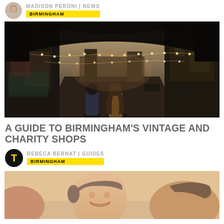MADISON PERONI | NEWS
BIRMINGHAM
[Figure (photo): Street scene in Birmingham viewed from under an arch, with string lights hanging across the road, graffiti on left wall, two people walking away from camera, sunset sky visible ahead]
A GUIDE TO BIRMINGHAM'S VINTAGE AND CHARITY SHOPS
REBECA BERNAT | GUIDES
BIRMINGHAM
[Figure (photo): Close-up photo of a young man smiling, selfie style, warm toned background]